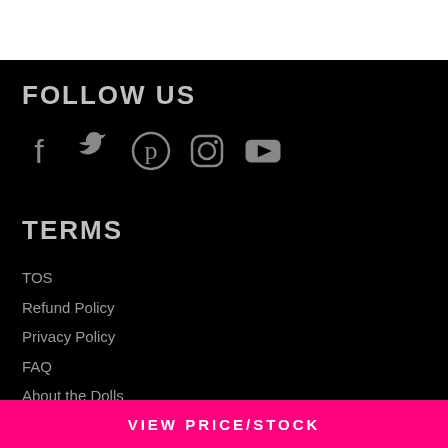FOLLOW US
[Figure (illustration): Row of social media icons: Facebook, Twitter, Pinterest, Instagram, YouTube]
TERMS
TOS
Refund Policy
Privacy Policy
FAQ
About the Dolls
Contact Us
VIEW PRICE/STOCK